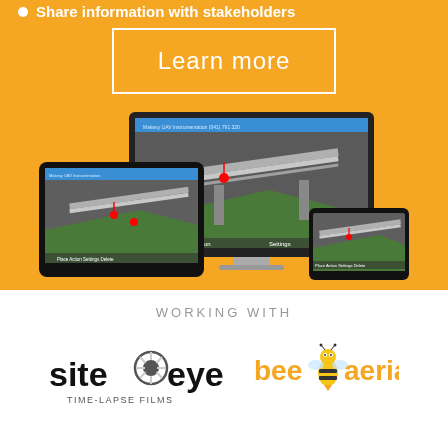Share information with stakeholders
Learn more
[Figure (screenshot): Screenshot of a construction monitoring web application shown on a desktop monitor, tablet, and smartphone, each displaying a 3D bridge model with instrumentation markers and navigation controls including Place, Action, Settings, Delete.]
WORKING WITH
[Figure (logo): SiteEye Time-Lapse Films logo — black text 'site' followed by a camera aperture icon then 'eye' in black, with 'TIME-LAPSE FILMS' in smaller text below]
[Figure (logo): Bee Aerial logo — orange text 'bee' with a cartoon bee illustration, followed by orange text 'aerial']